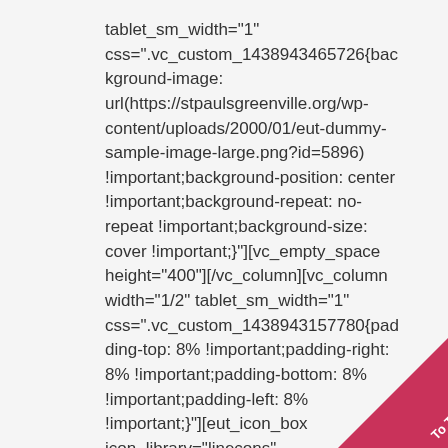tablet_sm_width="1" css=".vc_custom_1438943465726{background-image: url(https://stpaulsgreenville.org/wp-content/uploads/2000/01/eut-dummy-sample-image-large.png?id=5896) !important;background-position: center !important;background-repeat: no-repeat !important;background-size: cover !important;}"][vc_empty_space height="400"][/vc_column][vc_column width="1/2" tablet_sm_width="1" css=".vc_custom_1438943157780{padding-top: 8% !important;padding-right: 8% !important;padding-bottom: 8% !important;padding-left: 8% !important;}"][eut_icon_box icon_library="linecons" icon_color="grey" title="Our Expertise" heading="h4" animation="fadeInUp" animation_delay="400" icon_linecons="vc_li vc_li-lab"]Eripuit
[Figure (other): Pink/crimson triangle badge in the bottom-right corner with 'To Top' text written diagonally in white.]